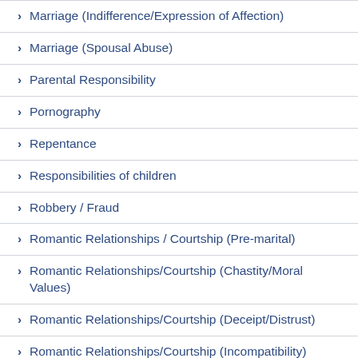Marriage (Indifference/Expression of Affection)
Marriage (Spousal Abuse)
Parental Responsibility
Pornography
Repentance
Responsibilities of children
Robbery / Fraud
Romantic Relationships / Courtship (Pre-marital)
Romantic Relationships/Courtship (Chastity/Moral Values)
Romantic Relationships/Courtship (Deceipt/Distrust)
Romantic Relationships/Courtship (Incompatibility)
Romantic Relationships/Courtship